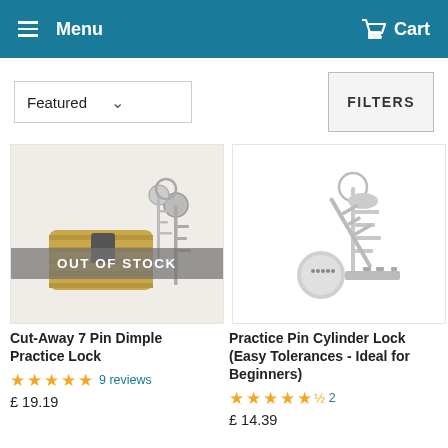Menu   Cart
Featured  ∨   FILTERS
[Figure (photo): Brass cut-away 7 pin dimple practice lock with two keys on a keyring, white background. Overlay text: OUT OF STOCK]
Cut-Away 7 Pin Dimple Practice Lock
★★★★★ 9 reviews
£ 19.19
[Figure (photo): Silver practice pin cylinder lock with two keys on a keyring, white background]
Practice Pin Cylinder Lock (Easy Tolerances - Ideal for Beginners)
★★★★★½ 2
£ 14.39